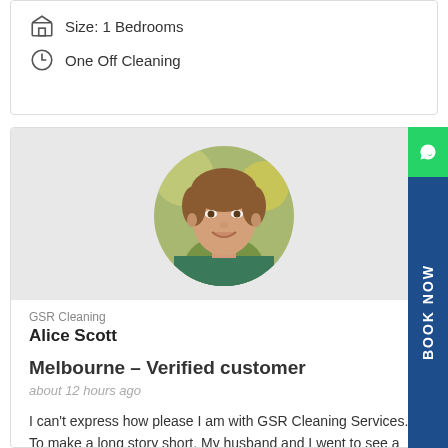Size: 1 Bedrooms
One Off Cleaning
[Figure (photo): Circular profile photo of a smiling woman with brown hair, wearing a green top, against a blurred outdoor background]
GSR Cleaning
Alice Scott
Melbourne – Verified customer
about 12 hours ago
I can't express how please I am with GSR Cleaning Services. To make a long story short. My husband and I went to see a house...